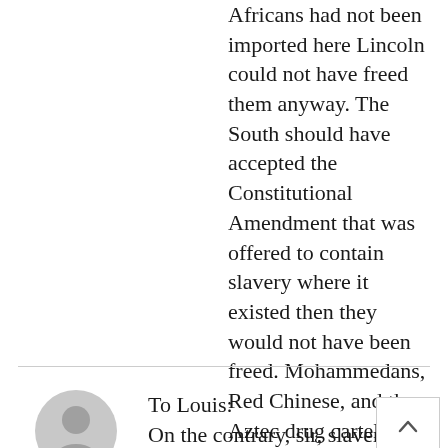Africans had not been imported here Lincoln could not have freed them anyway. The South should have accepted the Constitutional Amendment that was offered to contain slavery where it existed then they would not have been freed. Mohammedans, Red Chinese, and the Aztec drug cartels don't care about ordered liberty. You are delusional.
JUNE 22, 2022 | LOUIS
[Figure (illustration): Generic user avatar icon — gray circle with a person silhouette]
To Louis:
On the contrary, sir, slavery actually existed in the South was and is one of the principal things about the South to